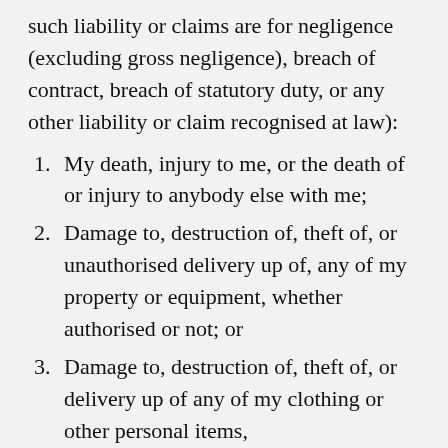such liability or claims are for negligence (excluding gross negligence), breach of contract, breach of statutory duty, or any other liability or claim recognised at law):
My death, injury to me, or the death of or injury to anybody else with me;
Damage to, destruction of, theft of, or unauthorised delivery up of, any of my property or equipment, whether authorised or not; or
Damage to, destruction of, theft of, or delivery up of any of my clothing or other personal items,
and in respect of all of the subject matter